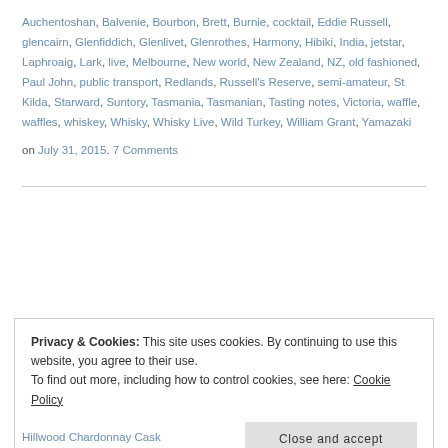Auchentoshan, Balvenie, Bourbon, Brett, Burnie, cocktail, Eddie Russell, glencairn, Glenfiddich, Glenlivet, Glenrothes, Harmony, Hibiki, India, jetstar, Laphroaig, Lark, live, Melbourne, New world, New Zealand, NZ, old fashioned, Paul John, public transport, Redlands, Russell's Reserve, semi-amateur, St Kilda, Starward, Suntory, Tasmania, Tasmanian, Tasting notes, Victoria, waffle, waffles, whiskey, Whisky, Whisky Live, Wild Turkey, William Grant, Yamazaki on July 31, 2015. 7 Comments
Privacy & Cookies: This site uses cookies. By continuing to use this website, you agree to their use. To find out more, including how to control cookies, see here: Cookie Policy
Close and accept
Hillwood Chardonnay Cask